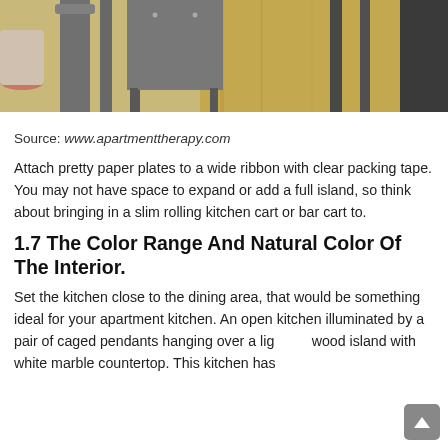[Figure (photo): Photo of metal bar stools near a kitchen island with wooden floor visible]
Source: www.apartmenttherapy.com
Attach pretty paper plates to a wide ribbon with clear packing tape. You may not have space to expand or add a full island, so think about bringing in a slim rolling kitchen cart or bar cart to.
1.7 The Color Range And Natural Color Of The Interior.
Set the kitchen close to the dining area, that would be something ideal for your apartment kitchen. An open kitchen illuminated by a pair of caged pendants hanging over a light wood island with white marble countertop. This kitchen has a